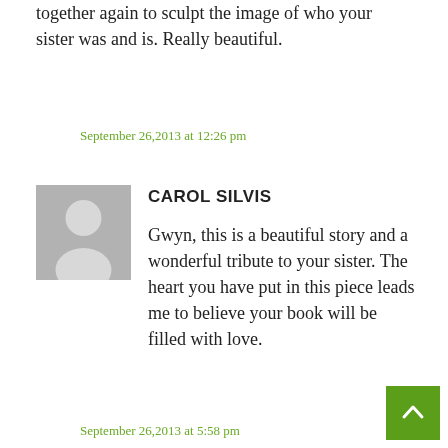together again to sculpt the image of who your sister was and is. Really beautiful.
September 26,2013 at 12:26 pm
CAROL SILVIS
Gwyn, this is a beautiful story and a wonderful tribute to your sister. The heart you have put in this piece leads me to believe your book will be filled with love.
September 26,2013 at 5:58 pm